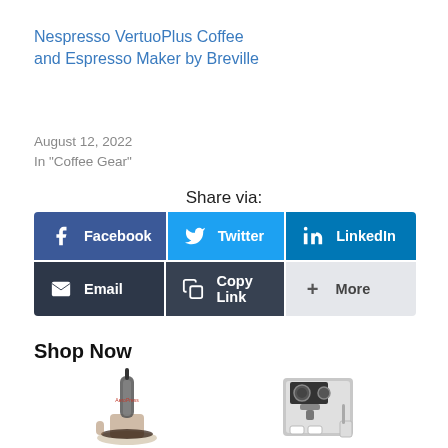Nespresso VertuoPlus Coffee and Espresso Maker by Breville
August 12, 2022
In "Coffee Gear"
Share via:
[Figure (infographic): Share buttons row 1: Facebook (blue), Twitter (light blue), LinkedIn (dark blue); row 2: Email (dark gray), Copy Link (dark gray), More (light gray)]
Shop Now
[Figure (photo): Two coffee product images: left shows an AeroPress coffee maker with glass carafe, right shows a stainless steel espresso machine with cups]